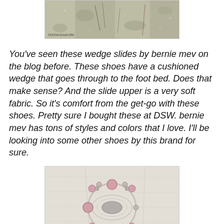[Figure (photo): Close-up photo of sandy/rocky ground with some vegetation, with a small watermark text in the lower left corner reading 'Debbiedusandlte']
You've seen these wedge slides by bernie mev on the blog before. These shoes have a cushioned wedge that goes through to the foot bed. Does that make sense? And the slide upper is a very soft fabric. So it's comfort from the get-go with these shoes. Pretty sure I bought these at DSW. bernie mev has tons of styles and colors that I love. I'll be looking into some other shoes by this brand for sure.
[Figure (photo): Photo of a circular beaded bracelet or brooch with pink and silver beads arranged in a wreath/circle shape, placed on a white fabric surface]